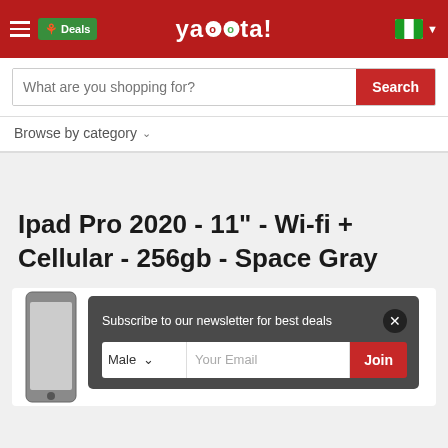yaoota! — Deals | Browse by category
What are you shopping for?
Browse by category
Ipad Pro 2020 - 11" - Wi-fi + Cellular - 256gb - Space Gray
[Figure (screenshot): Product image area showing iPad Pro device partially visible, with a newsletter subscription popup overlay reading 'Subscribe to our newsletter for best deals' with a gender dropdown (Male), email input (Your Email), and Join button]
Subscribe to our newsletter for best deals
Male | Your Email | Join